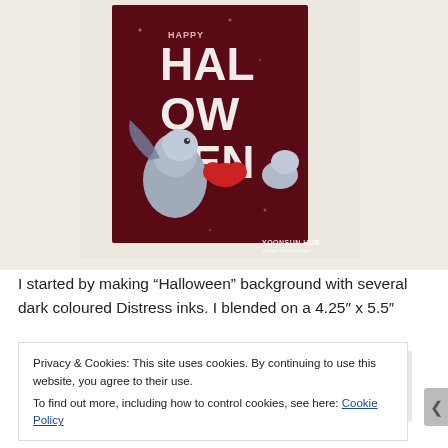[Figure (photo): A Halloween craft card featuring cartoon dragons and large letter cutouts spelling 'HALLOWEEN' with 'HAPPY' text, on a dark red/maroon speckled background. Watermark 'YOONSUN HUR' visible at bottom right.]
I started by making “Halloween” background with several dark coloured Distress inks. I blended on a 4.25” x 5.5”
Privacy & Cookies: This site uses cookies. By continuing to use this website, you agree to their use.
To find out more, including how to control cookies, see here: Cookie Policy
Close and accept